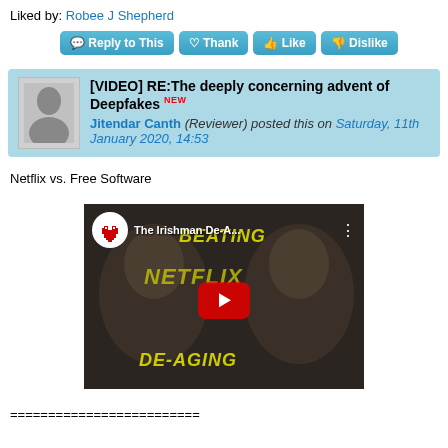Liked by: Robee J Shepherd
[Figure (screenshot): Forum action buttons: Reply to This, Thank, Like, Dislike]
[VIDEO] RE:The deeply concerning advent of Deepfakes NEW
Jitendar Canth (Reviewer) posted this on Saturday, 11th January 2020, 14:53
Netflix vs. Free Software
[Figure (screenshot): YouTube video thumbnail for 'The Irishman De-A...' showing two men's faces with text BEATING NETFLIX DE-AGING in yellow, red play button in center, pixel art heart logo in top left circle]
=========================